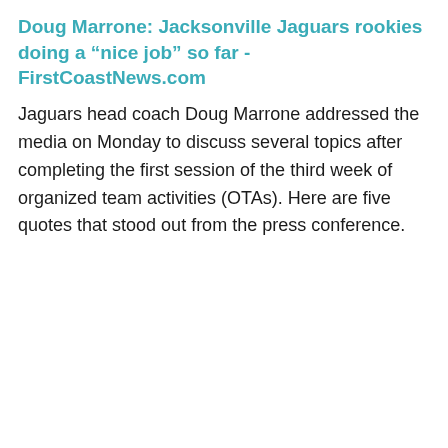Doug Marrone: Jacksonville Jaguars rookies doing a “nice job” so far - FirstCoastNews.com
Jaguars head coach Doug Marrone addressed the media on Monday to discuss several topics after completing the first session of the third week of organized team activities (OTAs). Here are five quotes that stood out from the press conference.